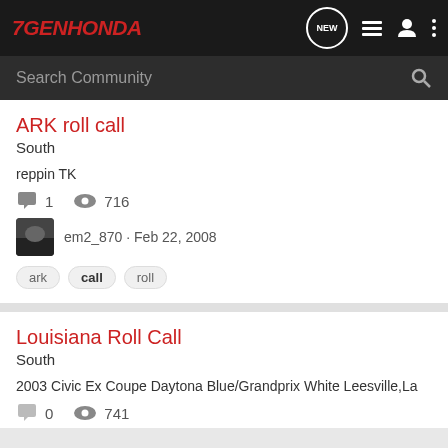7GENHONDA — navigation bar with logo, NEW bubble, list icon, person icon, more icon
Search Community
ARK roll call
South
reppin TK
1 comments · 716 views
em2_870 · Feb 22, 2008
ark
call
roll
Louisiana Roll Call
South
2003 Civic Ex Coupe Daytona Blue/Grandprix White Leesville,La
0 comments · 741 views